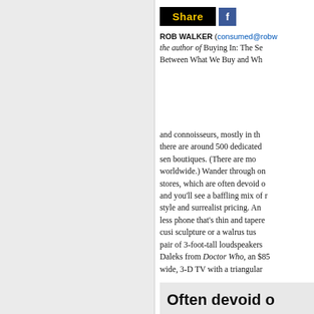[Figure (screenshot): Share bar with black background and yellow 'Share' text, and Facebook blue button with 'f']
ROB WALKER (consumed@robw... the author of Buying In: The Se... Between What We Buy and Wh...
and connoisseurs, mostly in th... there are around 500 dedicated ... sen boutiques. (There are mo... worldwide.) Wander through on... stores, which are often devoid o... and you'll see a baffling mix of r... style and surrealist pricing. An... less phone that's thin and tapere... cusi sculpture or a walrus tus... pair of 3-foot-tall loudspeakers ... Daleks from Doctor Who, an $85... wide, 3-D TV with a triangular ...
Often devoid o